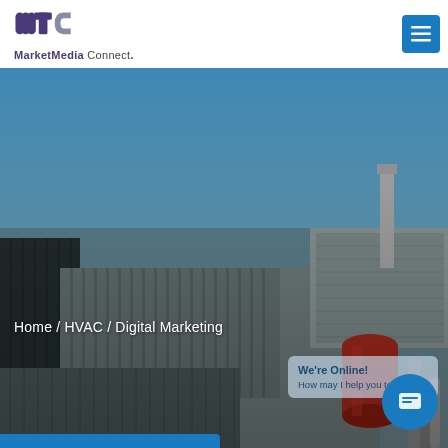[Figure (logo): MarketMedia Connect logo with stylized 'mtc' letters in purple and gray, followed by text 'MarketMedia Connect.' below]
[Figure (photo): Aerial/rooftop view of HVAC industrial equipment including large air conditioning units, pipes, and a red cylindrical tank against a blue sky background]
Home / HVAC / Digital Marketing
[Figure (other): Chat widget popup showing 'We're Online! How may I help you today?' with blue circular chat icon button in bottom right corner]
[Figure (other): Blue hamburger menu button in top right of header]